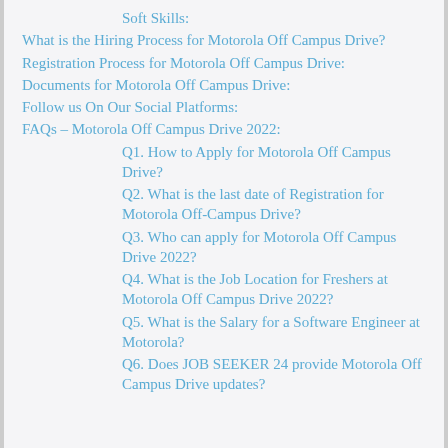Soft Skills:
What is the Hiring Process for Motorola Off Campus Drive?
Registration Process for Motorola Off Campus Drive:
Documents for Motorola Off Campus Drive:
Follow us On Our Social Platforms:
FAQs – Motorola Off Campus Drive 2022:
Q1. How to Apply for Motorola Off Campus Drive?
Q2. What is the last date of Registration for Motorola Off-Campus Drive?
Q3. Who can apply for Motorola Off Campus Drive 2022?
Q4. What is the Job Location for Freshers at Motorola Off Campus Drive 2022?
Q5. What is the Salary for a Software Engineer at Motorola?
Q6. Does JOB SEEKER 24 provide Motorola Off Campus Drive updates?